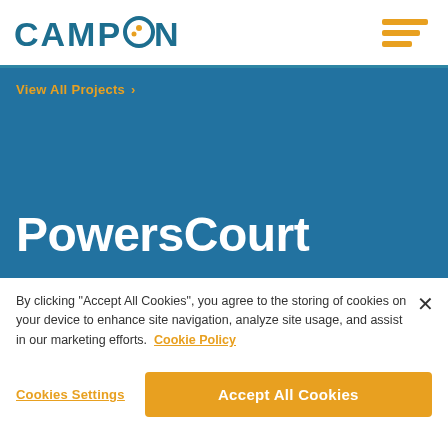[Figure (logo): Campion logo with water drop icon and text 'THE POWER BEHIND WATER', plus hamburger menu icon in orange on the right]
View All Projects >
PowersCourt
By clicking "Accept All Cookies", you agree to the storing of cookies on your device to enhance site navigation, analyze site usage, and assist in our marketing efforts.  Cookie Policy
Cookies Settings
Accept All Cookies